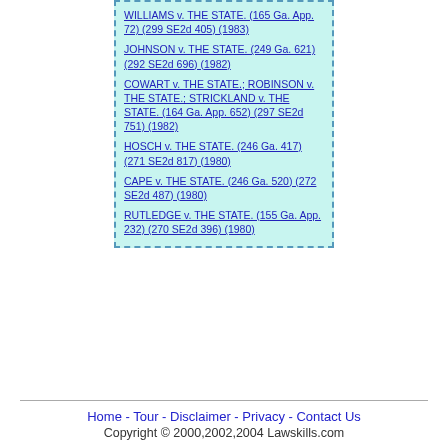WILLIAMS v. THE STATE. (165 Ga. App. 72) (299 SE2d 405) (1983)
JOHNSON v. THE STATE. (249 Ga. 621) (292 SE2d 696) (1982)
COWART v. THE STATE.; ROBINSON v. THE STATE.; STRICKLAND v. THE STATE. (164 Ga. App. 652) (297 SE2d 751) (1982)
HOSCH v. THE STATE. (246 Ga. 417) (271 SE2d 817) (1980)
CAPE v. THE STATE. (246 Ga. 520) (272 SE2d 487) (1980)
RUTLEDGE v. THE STATE. (155 Ga. App. 232) (270 SE2d 396) (1980)
Home - Tour - Disclaimer - Privacy - Contact Us
Copyright © 2000,2002,2004 Lawskills.com